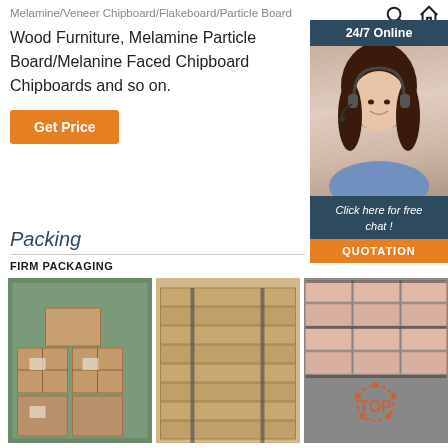Melamine/Veneer Chipboard/Flakeboard/Particle Board
Wood Furniture, Melamine Particle Board/Melanine Faced Chipboard Chipboards and so on.
[Figure (other): Orange 'Get Price' button]
[Figure (photo): Sidebar with '24/7 Online' header, customer service woman with headset, 'Click here for free chat!' text, and orange QUOTATION button]
Packing
FIRM PACKAGING
[Figure (photo): Three photos of packing: cardboard boxes inside shipping container, stacked flat boards/panels strapped together, pink/salmon colored particle boards stacked with TOP watermark logo]